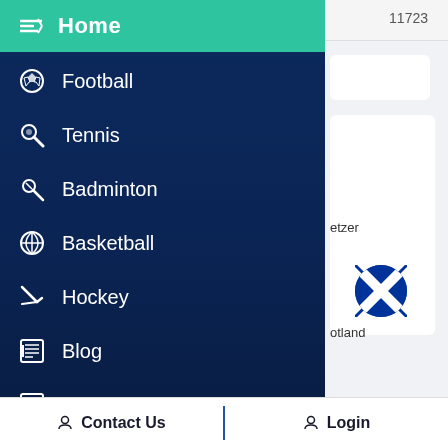11723
Home
Cricket
Football
Tennis
Badminton
Basketball
Hockey
Blog
Do You Know?
etzer
[Figure (illustration): Scotland flag circle icon]
otland
Cricket
Contact Us
Login